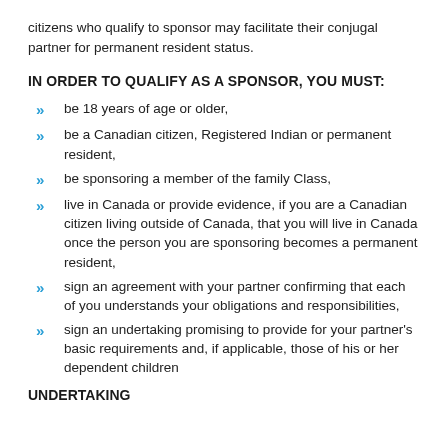citizens who qualify to sponsor may facilitate their conjugal partner for permanent resident status.
IN ORDER TO QUALIFY AS A SPONSOR, YOU MUST:
be 18 years of age or older,
be a Canadian citizen, Registered Indian or permanent resident,
be sponsoring a member of the family Class,
live in Canada or provide evidence, if you are a Canadian citizen living outside of Canada, that you will live in Canada once the person you are sponsoring becomes a permanent resident,
sign an agreement with your partner confirming that each of you understands your obligations and responsibilities,
sign an undertaking promising to provide for your partner's basic requirements and, if applicable, those of his or her dependent children
UNDERTAKING